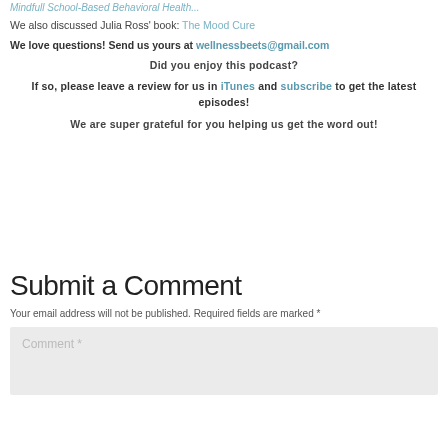Mindfull School-Based Behavioral Health...
We also discussed Julia Ross' book: The Mood Cure
We love questions! Send us yours at wellnessbeets@gmail.com
Did you enjoy this podcast?
If so, please leave a review for us in iTunes and subscribe to get the latest episodes!
We are super grateful for you helping us get the word out!
Submit a Comment
Your email address will not be published. Required fields are marked *
Comment *